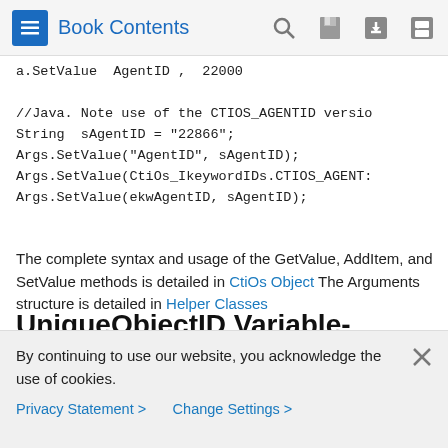Book Contents
a.SetValue  AgentID ,  22000

//Java. Note use of the CTIOS_AGENTID versio
String  sAgentID = "22866";
Args.SetValue("AgentID", sAgentID);
Args.SetValue(CtiOs_IkeywordIDs.CTIOS_AGENT:
Args.SetValue(ekwAgentID, sAgentID);
The complete syntax and usage of the GetValue, AddItem, and SetValue methods is detailed in CtiOs Object The Arguments structure is detailed in Helper Classes
UniqueObjectID Variable-Length String
By continuing to use our website, you acknowledge the use of cookies.
Privacy Statement > Change Settings >